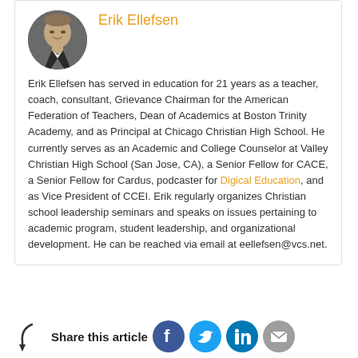[Figure (photo): Circular headshot photo of Erik Ellefsen, a man in a suit, smiling]
Erik Ellefsen
Erik Ellefsen has served in education for 21 years as a teacher, coach, consultant, Grievance Chairman for the American Federation of Teachers, Dean of Academics at Boston Trinity Academy, and as Principal at Chicago Christian High School. He currently serves as an Academic and College Counselor at Valley Christian High School (San Jose, CA), a Senior Fellow for CACE, a Senior Fellow for Cardus, podcaster for Digical Education, and as Vice President of CCEI. Erik regularly organizes Christian school leadership seminars and speaks on issues pertaining to academic program, student leadership, and organizational development. He can be reached via email at eellefsen@vcs.net.
[Figure (infographic): Share this article section with arrow icon and social media buttons: Facebook, Twitter, LinkedIn, Email]